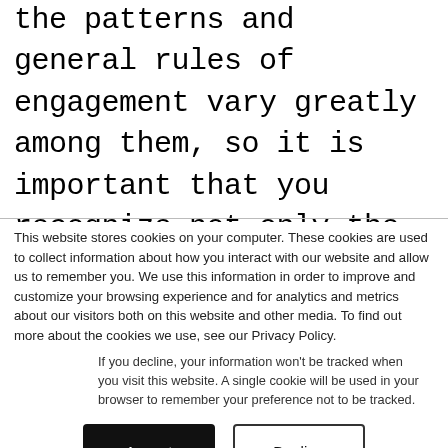the patterns and general rules of engagement vary greatly among them, so it is important that you recognize not only the goals they are trying to achieve, but also the context on which these goals are happening and how this can impact the experience, structure, layout,
This website stores cookies on your computer. These cookies are used to collect information about how you interact with our website and allow us to remember you. We use this information in order to improve and customize your browsing experience and for analytics and metrics about our visitors both on this website and other media. To find out more about the cookies we use, see our Privacy Policy.
If you decline, your information won't be tracked when you visit this website. A single cookie will be used in your browser to remember your preference not to be tracked.
Accept
Decline